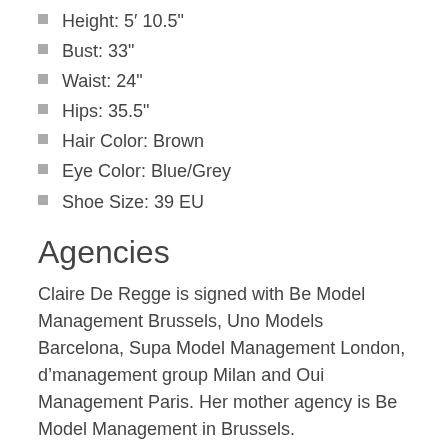Height: 5' 10.5"
Bust: 33"
Waist: 24"
Hips: 35.5"
Hair Color: Brown
Eye Color: Blue/Grey
Shoe Size: 39 EU
Agencies
Claire De Regge is signed with Be Model Management Brussels, Uno Models Barcelona, Supa Model Management London, d’management group Milan and Oui Management Paris. Her mother agency is Be Model Management in Brussels.
Work History by Year
In 2011 she walked the spring shows in New York for Alexander Wang and Vera Wang. She walked the fall